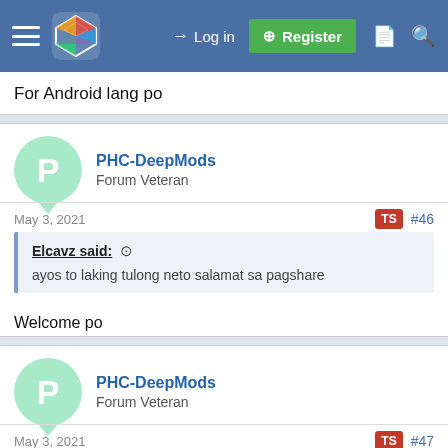Log in | Register
For Android lang po
PHC-DeepMods
Forum Veteran
May 3, 2021  TS  #46
Elcavz said: ↑
ayos to laking tulong neto salamat sa pagshare
Welcome po
PHC-DeepMods
Forum Veteran
May 3, 2021  TS  #47